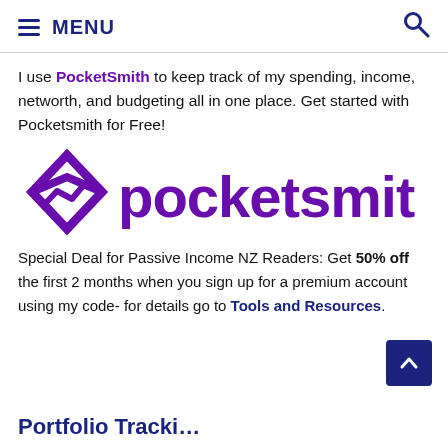≡ MENU 🔍
I use PocketSmith to keep track of my spending, income, networth, and budgeting all in one place. Get started with Pocketsmith for Free!
[Figure (logo): PocketSmith logo in purple — diamond/envelope icon with a chart line inside, followed by the text 'pocketsmith' in purple lowercase letters]
Special Deal for Passive Income NZ Readers: Get 50% off the first 2 months when you sign up for a premium account using my code- for details go to Tools and Resources.
Portfolio Tracking